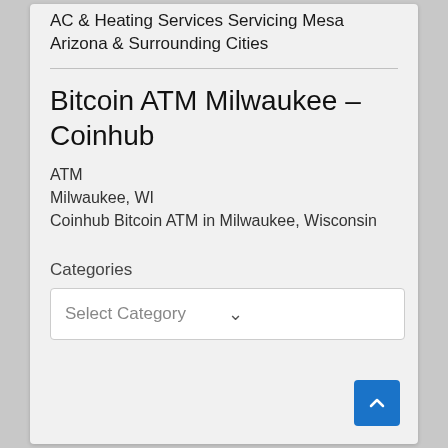AC & Heating Services Servicing Mesa Arizona & Surrounding Cities
Bitcoin ATM Milwaukee – Coinhub
ATM
Milwaukee, WI
Coinhub Bitcoin ATM in Milwaukee, Wisconsin
Categories
Select Category